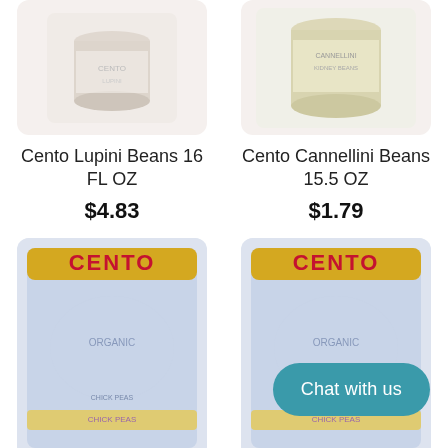[Figure (photo): Cento Lupini Beans can product image]
[Figure (photo): Cento Cannellini Beans can product image with Kidney Beans label visible]
Cento Lupini Beans 16 FL OZ
$4.83
Cento Cannellini Beans 15.5 OZ
$1.79
[Figure (photo): Cento Organic Chick Peas can product image]
[Figure (photo): Cento Organic whole can product image]
Cento Organic
Cento Organic
Chat with us